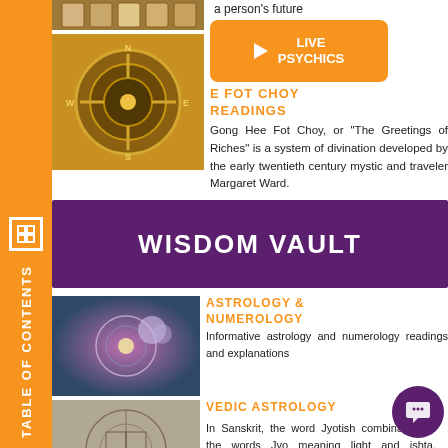a person's future
[Figure (photo): Tarot cards image at top]
[Figure (photo): Compass/astrology instrument on golden background]
[Figure (infographic): Live Psychics orange button with play icon]
GONG HEE FOT CHOY READINGS
Gong Hee Fot Choy, or "The Greetings of Riches" is a system of divination developed by the early twentieth century mystic and traveler Margaret Ward.
WISDOM VAULT
[Figure (photo): Woman with futuristic headphones and glowing orbs]
ASTROLOGY & NUMEROLOGY
Informative astrology and numerology readings and explanations
[Figure (photo): Vedic astrology chart diagram]
VEDIC ASTROLOGY
In Sanskrit, the word Jyotish combination of the words Jyo meaning light and ishta, meaning deity.